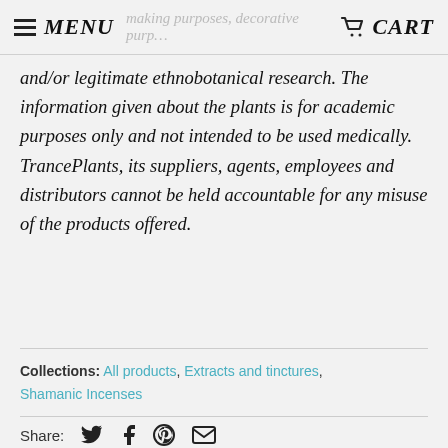MENU | CART
and/or legitimate ethnobotanical research. The information given about the plants is for academic purposes only and not intended to be used medically. TrancePlants, its suppliers, agents, employees and distributors cannot be held accountable for any misuse of the products offered.
Collections: All products, Extracts and tinctures, Shamanic Incenses
Share: